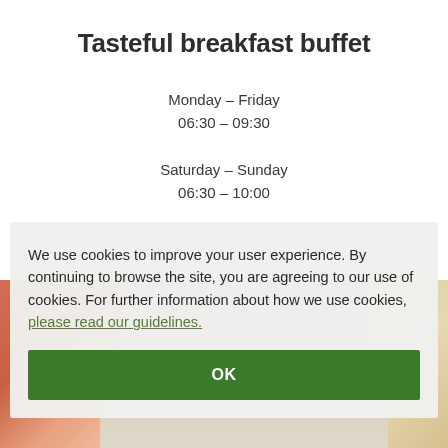Tasteful breakfast buffet
Monday – Friday
06:30 – 09:30

Saturday – Sunday
06:30 – 10:00
[Figure (photo): Food photo showing breakfast items, partially visible behind cookie consent overlay]
We use cookies to improve your user experience. By continuing to browse the site, you are agreeing to our use of cookies. For further information about how we use cookies, please read our guidelines.
OK